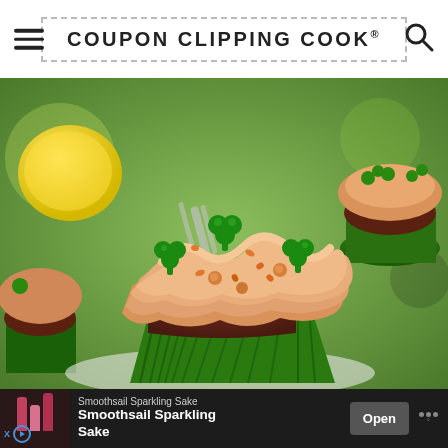COUPON CLIPPING COOK®
[Figure (photo): Close-up photo of a cupcake with peach/tan frosting in a green cupcake liner, decorated with green shamrock candies and orange sprinkles. Background shows additional cupcakes, a lemon, and silverware on a green surface.]
Smoothsail Sparkling Sake
Smoothsail Sparkling Sake
Open